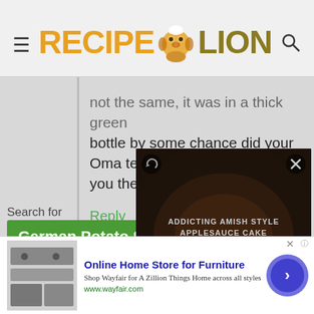RecipeLion
...not the same, it was in a thick green bottle by some chance did your Oma tell you the name of it.
Reply
Search for
German Potato Sal...
Homemade Potato Salad Recipe
[Figure (screenshot): Video overlay showing 'Addicting Amish Style Applesauce Cake' with play button, mute button, close button and refresh icon on dark background]
[Figure (screenshot): Wayfair advertisement: Online Home Store for Furniture. Shop Wayfair for A Zillion Things Home across all styles. www.wayfair.com. Image of appliances on left, blue circular CTA button on right.]